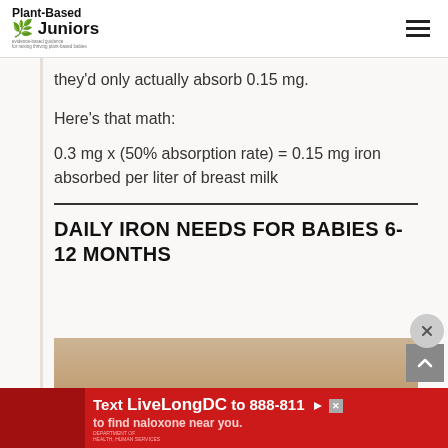Plant-Based Juniors
they'd only actually absorb 0.15 mg.
Here's that math:
DAILY IRON NEEDS FOR BABIES 6-12 MONTHS
[Figure (photo): Partial image of a baby or infant at the bottom of the content area]
Text LiveLongDC to 888-811 to find naloxone near you.